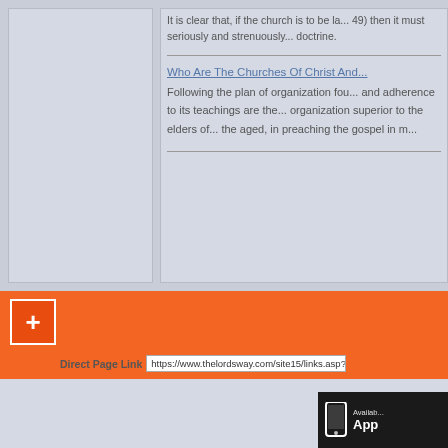It is clear that, if the church is to be la... 49) then it must seriously and strenuously... doctrine.
Who Are The Churches Of Christ And... Following the plan of organization fou... and adherence to its teachings are the... organization superior to the elders of... the aged, in preaching the gospel in m...
[Figure (screenshot): Orange plus (+) button UI element]
Direct Page Link  https://www.thelordsway.com/site15/links.asp?Co...
[Figure (screenshot): App Store badge showing phone icon with 'Available on the App Store' text]